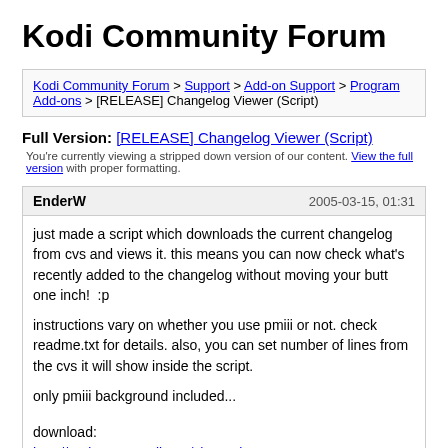Kodi Community Forum
Kodi Community Forum > Support > Add-on Support > Program Add-ons > [RELEASE] Changelog Viewer (Script)
Full Version: [RELEASE] Changelog Viewer (Script)
You're currently viewing a stripped down version of our content. View the full version with proper formatting.
EnderW   2005-03-15, 01:31
just made a script which downloads the current changelog from cvs and views it. this means you can now check what's recently added to the changelog without moving your butt one inch!  :p

instructions vary on whether you use pmiii or not. check readme.txt for details. also, you can set number of lines from the cvs it will show inside the script.

only pmiii background included...


download:
http://enderw.emutalk.net/changelog.rar